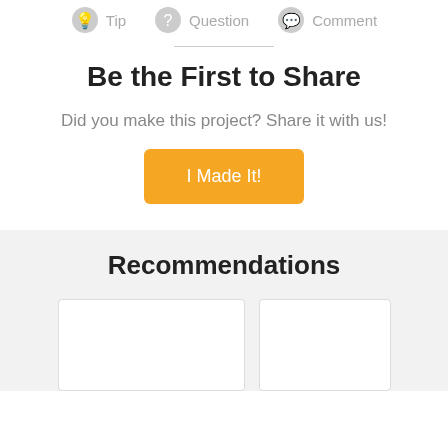[Figure (infographic): Top bar with three icon-label items: a lightbulb icon labeled Tip, a question mark icon labeled Question, and a speech bubble icon labeled Comment, all in gray.]
Be the First to Share
Did you make this project? Share it with us!
[Figure (other): Orange button labeled 'I Made It!']
Recommendations